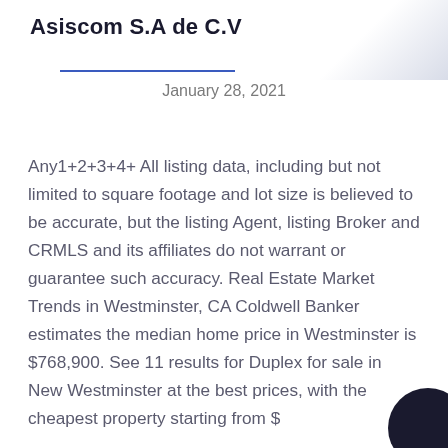Asiscom S.A de C.V
January 28, 2021
Any1+2+3+4+ All listing data, including but not limited to square footage and lot size is believed to be accurate, but the listing Agent, listing Broker and CRMLS and its affiliates do not warrant or guarantee such accuracy. Real Estate Market Trends in Westminster, CA Coldwell Banker estimates the median home price in Westminster is $768,900. See 11 results for Duplex for sale in New Westminster at the best prices, with the cheapest property starting from $